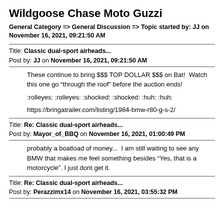Wildgoose Chase Moto Guzzi
General Category => General Discussion => Topic started by: JJ on November 16, 2021, 09:21:50 AM
Title: Classic dual-sport airheads...
Post by: JJ on November 16, 2021, 09:21:50 AM
These continue to bring $$$ TOP DOLLAR $$$ on Bat!  Watch this one go "through the roof" before the auction ends!

:rolleyes: :rolleyes: :shocked: :shocked: :huh: :huh:

https://bringatrailer.com/listing/1984-bmw-r80-g-s-2/
Title: Re: Classic dual-sport airheads...
Post by: Mayor_of_BBQ on November 16, 2021, 01:00:49 PM
probably a boatload of money...  I am still waiting to see any BMW that makes me feel something besides "Yes, that is a motorcycle". I just dont get it.
Title: Re: Classic dual-sport airheads...
Post by: Perazzimx14 on November 16, 2021, 03:55:32 PM